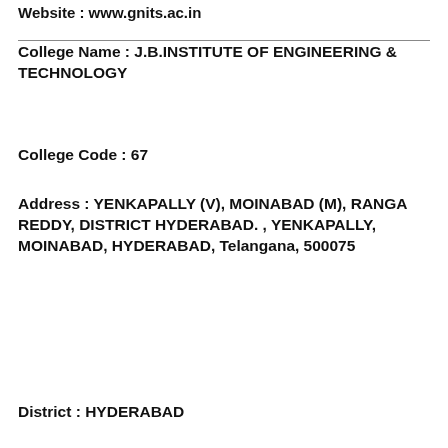Website : www.gnits.ac.in
College Name : J.B.INSTITUTE OF ENGINEERING & TECHNOLOGY
College Code : 67
Address : YENKAPALLY (V), MOINABAD (M), RANGA REDDY, DISTRICT HYDERABAD. , YENKAPALLY, MOINABAD, HYDERABAD, Telangana, 500075
District : HYDERABAD